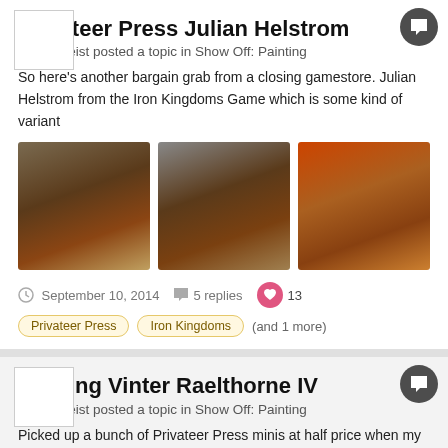[Figure (screenshot): Avatar placeholder box top-left, comment bubble icon top-right]
Privateer Press Julian Helstrom
Paintergeist posted a topic in Show Off: Painting
So here's another bargain grab from a closing gamestore. Julian Helstrom from the Iron Kingdoms Game which is some kind of variant
[Figure (photo): Three photos of a painted miniature figure in red cloak with sword, shown from different angles]
September 10, 2014   5 replies   13
Privateer Press
Iron Kingdoms
(and 1 more)
[Figure (screenshot): Avatar placeholder box top-left, comment bubble icon top-right for second post]
PP King Vinter Raelthorne IV
Paintergeist posted a topic in Show Off: Painting
Picked up a bunch of Privateer Press minis at half price when my local